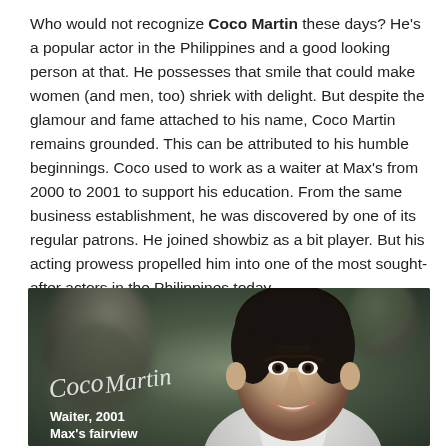Who would not recognize Coco Martin these days? He's a popular actor in the Philippines and a good looking person at that. He possesses that smile that could make women (and men, too) shriek with delight. But despite the glamour and fame attached to his name, Coco Martin remains grounded. This can be attributed to his humble beginnings. Coco used to work as a waiter at Max's from 2000 to 2001 to support his education. From the same business establishment, he was discovered by one of its regular patrons. He joined showbiz as a bit player. But his acting prowess propelled him into one of the most sought-after actors in the Philippines today.
[Figure (photo): Photo of Coco Martin smiling, with a cursive signature overlay reading 'Coco Martin' and text below reading 'Waiter, 2001' and 'Max's fairview']